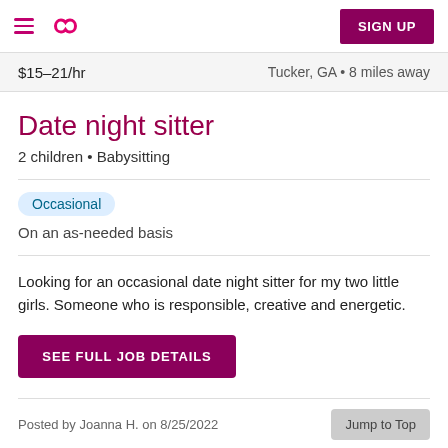≡ [logo] SIGN UP
$15–21/hr    Tucker, GA • 8 miles away
Date night sitter
2 children • Babysitting
Occasional
On an as-needed basis
Looking for an occasional date night sitter for my two little girls. Someone who is responsible, creative and energetic.
SEE FULL JOB DETAILS
Posted by Joanna H. on 8/25/2022
Jump to Top